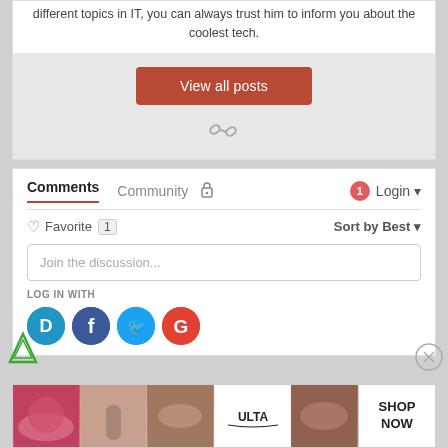different topics in IT, you can always trust him to inform you about the coolest tech.
View all posts
Comments  Community  Login
Favorite 1  Sort by Best
Join the discussion...
LOG IN WITH
[Figure (screenshot): Social login icons: Disqus (blue), Facebook (dark blue), Twitter (light blue), Google (red)]
[Figure (screenshot): Bottom advertisement banner showing beauty/makeup imagery with ULTA logo and SHOP NOW text]